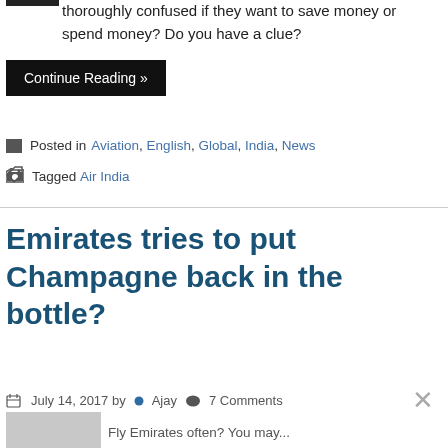thoroughly confused if they want to save money or spend money? Do you have a clue?
Continue Reading »
Posted in Aviation, English, Global, India, News
Tagged Air India
Emirates tries to put Champagne back in the bottle?
July 14, 2017 by Ajay 7 Comments
Fly Emirates often? You may...